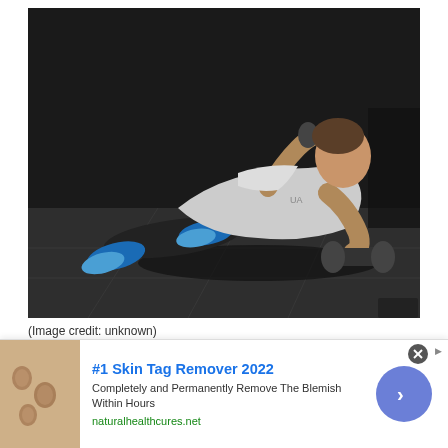[Figure (photo): A man in a gym performing a renegade row exercise — in a plank position on two dumbbells on a dark rubber floor, wearing blue sneakers and a grey tank top, lifting one dumbbell toward his chest.]
(Image credit: unknown)
Add some core work to your quest for a stronger upper back with this combination of a plank and a row. Hexagonal dumbbells are ideal for the renegade row, because the starting position involves adopting
[Figure (infographic): Advertisement banner: #1 Skin Tag Remover 2022 — Completely and Permanently Remove The Blemish Within Hours — naturalhealthcures.net. Shows a close-up image of skin tags on the left and a blue arrow button on the right.]